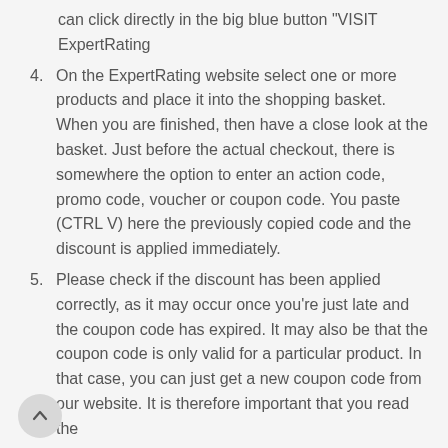can click directly in the big blue button "VISIT ExpertRating
4. On the ExpertRating website select one or more products and place it into the shopping basket. When you are finished, then have a close look at the basket. Just before the actual checkout, there is somewhere the option to enter an action code, promo code, voucher or coupon code. You paste (CTRL V) here the previously copied code and the discount is applied immediately.
5. Please check if the discount has been applied correctly, as it may occur once you're just late and the coupon code has expired. It may also be that the coupon code is only valid for a particular product. In that case, you can just get a new coupon code from our website. It is therefore important that you read the